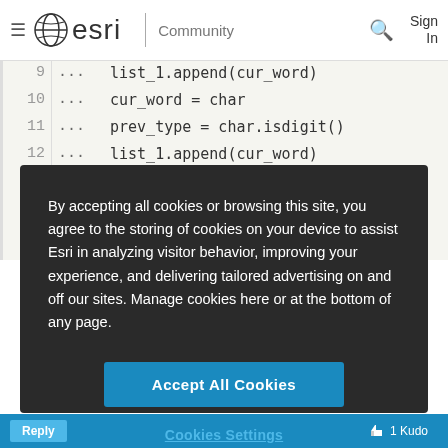esri Community
[Figure (screenshot): Code block showing Python code lines 9-12 with line numbers and continuation dots. Line 9: list_1.append(cur_word), Line 10: cur_word = char, Line 11: prev_type = char.isdigit(), Line 12: list_1.append(cur_word)]
By accepting all cookies or browsing this site, you agree to the storing of cookies on your device to assist Esri in analyzing visitor behavior, improving your experience, and delivering tailored advertising on and off our sites. Manage cookies here or at the bottom of any page.
Accept All Cookies
Cookies Settings